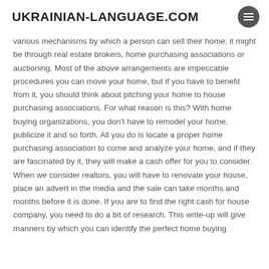UKRAINIAN-LANGUAGE.COM
various mechanisms by which a person can sell their home; it might be through real estate brokers, home purchasing associations or auctioning. Most of the above arrangements are impeccable procedures you can move your home, but if you have to benefit from it, you should think about pitching your home to house purchasing associations. For what reason is this? With home buying organizations, you don't have to remodel your home, publicize it and so forth. All you do is locate a proper home purchasing association to come and analyze your home, and if they are fascinated by it, they will make a cash offer for you to consider. When we consider realtors, you will have to renovate your house, place an advert in the media and the sale can take months and months before it is done. If you are to find the right cash for house company, you need to do a bit of research. This write-up will give manners by which you can identify the perfect home buying